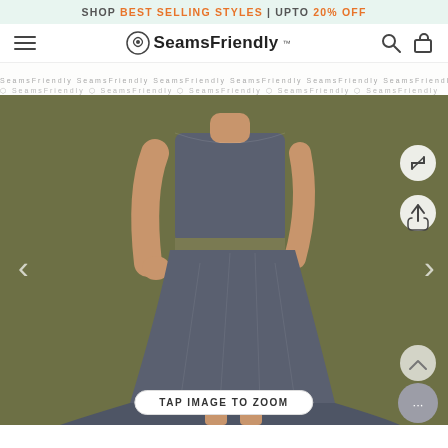SHOP BEST SELLING STYLES | UPTO 20% OFF
SeamsFriendly
[Figure (photo): E-commerce website screenshot showing a woman wearing a denim cut-out midi dress with a flared skirt against an olive/khaki background. Navigation arrows on sides, zoom/share/expand icons on the right, and a 'TAP IMAGE TO ZOOM' label at bottom.]